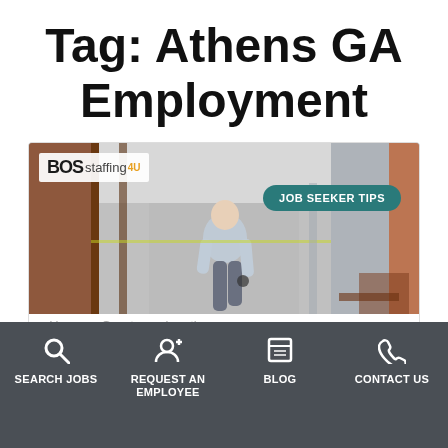Tag: Athens GA Employment
[Figure (screenshot): BOS Staffing blog post thumbnail showing a man walking away down a hallway, with 'JOB SEEKER TIPS' badge in teal, BOS staffing logo top left]
SEARCH JOBS  REQUEST AN EMPLOYEE  BLOG  CONTACT US